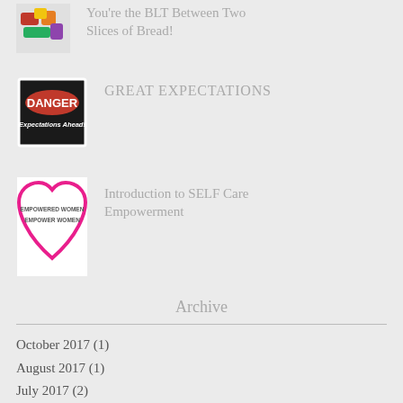[Figure (illustration): Partial thumbnail image of a colorful illustration (top cropped)]
You're the BLT Between Two Slices of Bread!
[Figure (illustration): Danger sign image with red oval 'DANGER' text and 'Expectations Ahead!' below on black background with white border]
GREAT EXPECTATIONS
[Figure (illustration): Heart outline in pink/magenta with 'EMPOWERED WOMEN EMPOWER WOMEN' text inside]
Introduction to SELF Care Empowerment
Archive
October 2017 (1)
August 2017 (1)
July 2017 (2)
June 2017 (2)